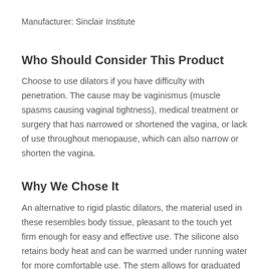Manufacturer:  Sinclair Institute
Who Should Consider This Product
Choose to use dilators if you have difficulty with penetration. The cause may be vaginismus (muscle spasms causing vaginal tightness), medical treatment or surgery that has narrowed or shortened the vagina, or lack of use throughout menopause, which can also narrow or shorten the vagina.
Why We Chose It
An alternative to rigid plastic dilators, the material used in these resembles body tissue, pleasant to the touch yet firm enough for easy and effective use. The silicone also retains body heat and can be warmed under running water for more comfortable use. The stem allows for graduated therapy...